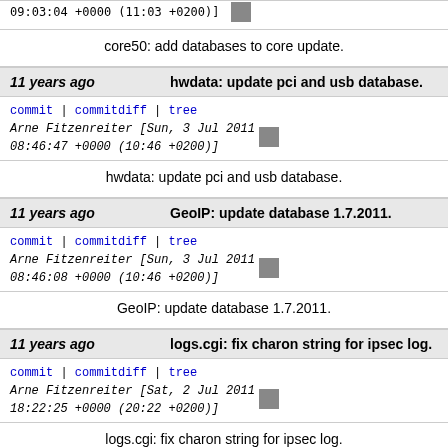09:03:04 +0000 (11:03 +0200)]
core50: add databases to core update.
11 years ago   hwdata: update pci and usb database.
commit | commitdiff | tree   Arne Fitzenreiter [Sun, 3 Jul 2011 08:46:47 +0000 (10:46 +0200)]
hwdata: update pci and usb database.
11 years ago   GeoIP: update database 1.7.2011.
commit | commitdiff | tree   Arne Fitzenreiter [Sun, 3 Jul 2011 08:46:08 +0000 (10:46 +0200)]
GeoIP: update database 1.7.2011.
11 years ago   logs.cgi: fix charon string for ipsec log.
commit | commitdiff | tree   Arne Fitzenreiter [Sat, 2 Jul 2011 18:22:25 +0000 (20:22 +0200)]
logs.cgi: fix charon string for ipsec log.
11 years ago   core50: add graphs.pl.